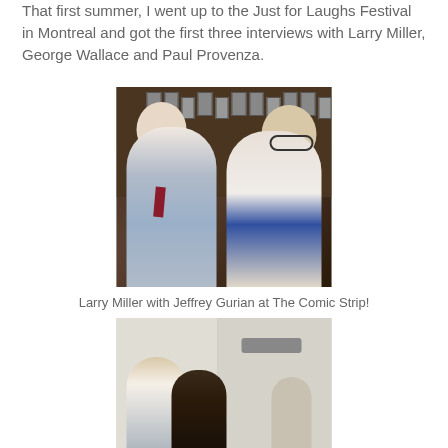That first summer, I went up to the Just for Laughs Festival in Montreal and got the first three interviews with Larry Miller, George Wallace and Paul Provenza.
[Figure (photo): Two men posing together at The Comic Strip comedy club. Left: bald man in light blue dress shirt and dark red tie. Right: man with long gray-brown hair wearing sunglasses, colorful Hawaiian-style shirt, and white blazer. Photo wall with framed headshots visible in background.]
Larry Miller with Jeffrey Gurian at The Comic Strip!
[Figure (photo): Three people posing together, partially visible. Scene appears to be indoors with a clothing hanger rack visible in background.]